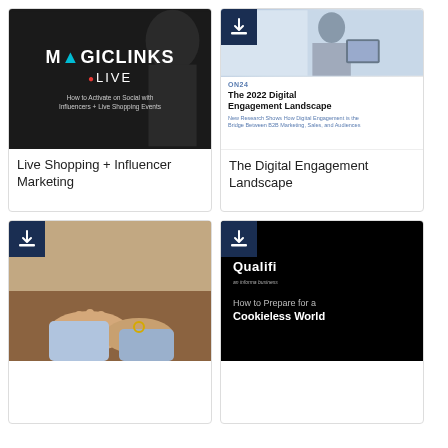[Figure (illustration): Card showing MagicLinks Live branding on dark background with text 'How to Activate on Social with Influencers + Live Shopping Events']
Live Shopping + Influencer Marketing
[Figure (illustration): Card showing ON24 report cover 'The 2022 Digital Engagement Landscape' with photo of woman at laptop]
The Digital Engagement Landscape
[Figure (photo): Card showing hands on desk/keyboard, download badge top left]
[Figure (illustration): Card showing Qualifi branding on black background with text 'How to Prepare for a Cookieless World', download badge top left]